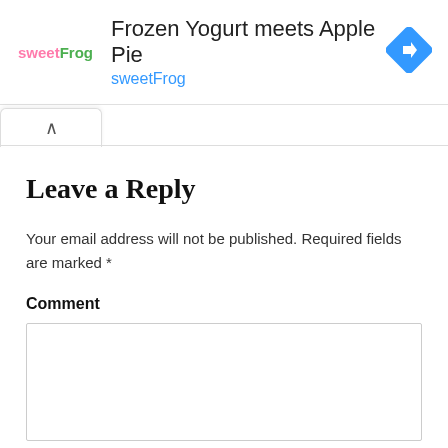[Figure (screenshot): Advertisement banner for sweetFrog frozen yogurt. Shows sweetFrog logo on left, title 'Frozen Yogurt meets Apple Pie', subtitle 'sweetFrog' in blue, and a blue diamond navigation icon on the right.]
Leave a Reply
Your email address will not be published. Required fields are marked *
Comment